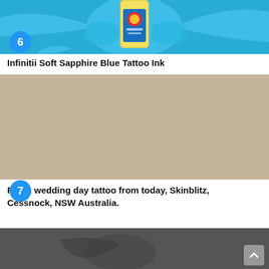[Figure (photo): Top portion of item 6 showing Infinitii Soft Sapphire Blue Tattoo Ink bottle against a blue paint splash background]
Infinitii Soft Sapphire Blue Tattoo Ink
[Figure (photo): A fist with a '23' tattoo on the finger, labeled item 7, fresh wedding day tattoo from Skinblitz, Cessnock NSW Australia]
Fresh wedding day tattoo from today, Skinblitz, Cessnock, NSW Australia.
[Figure (photo): Bottom partial image showing tattoo artwork, partially visible]